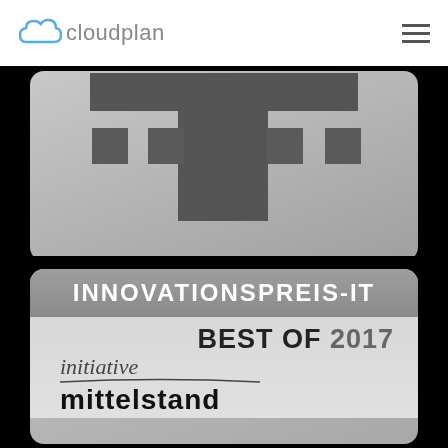[Figure (logo): Cloudplan logo with cloud icon and text 'cloudplan' in grey, plus hamburger menu icon on the right]
[Figure (logo): Partially visible Telekom T-logo on a grey rounded card with dark background, partially cropped at top]
[Figure (logo): Innovationspreis-IT Best of 2017 award badge on grey rounded card, with 'initiative mittelstand' text partially visible]